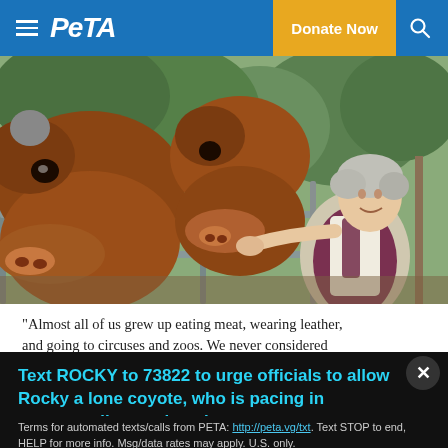PETA — Donate Now
[Figure (photo): A woman with short grey hair smiles while reaching through a metal fence to touch/feed brown cows at what appears to be a farm or sanctuary setting.]
“Almost all of us grew up eating meat, wearing leather, and going to circuses and zoos. We never considered
Text ROCKY to 73822 to urge officials to allow Rocky a lone coyote, who is pacing in apparent distress in a tiny cage, to move to an accredited sanctuary.
Terms for automated texts/calls from PETA: http://peta.vg/txt. Text STOP to end, HELP for more info. Msg/data rates may apply. U.S. only.